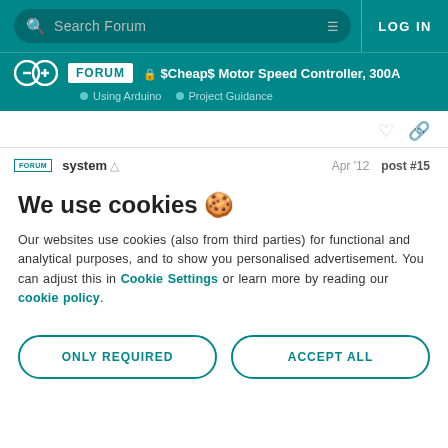Search Forum | LOG IN
$Cheap$ Motor Speed Controller, 300A | Using Arduino > Project Guidance
system | Apr '12 | post #15
We use cookies 🍪
Our websites use cookies (also from third parties) for functional and analytical purposes, and to show you personalised advertisement. You can adjust this in Cookie Settings or learn more by reading our cookie policy.
ONLY REQUIRED
ACCEPT ALL